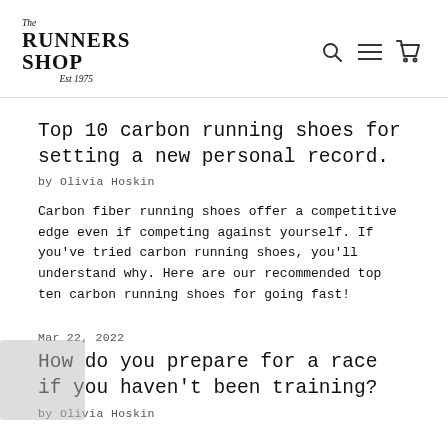The Runners Shop Est 1975
Top 10 carbon running shoes for setting a new personal record.
by Olivia Hoskin
Carbon fiber running shoes offer a competitive edge even if competing against yourself. If you've tried carbon running shoes, you'll understand why. Here are our recommended top ten carbon running shoes for going fast!
Mar 22, 2022
How do you prepare for a race if you haven't been training?
by Olivia Hoskin